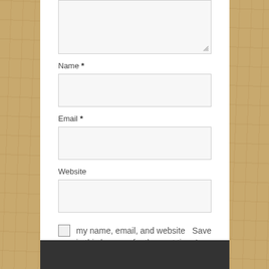[Figure (screenshot): Textarea input field (comment box) with resize handle at bottom-right, light gray background, thin border]
Name *
[Figure (screenshot): Name input field, empty, light gray background, thin border]
Email *
[Figure (screenshot): Email input field, empty, light gray background, thin border]
Website
[Figure (screenshot): Website input field, empty, light gray background, thin border]
Save my name, email, and website in this browser for the next time I comment.
[Figure (screenshot): Post Comment button, red background, white bold text]